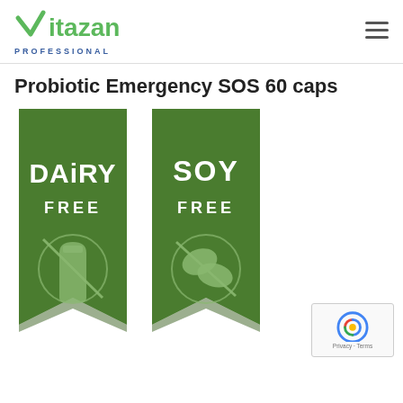Vitazan PROFESSIONAL
Probiotic Emergency SOS 60 caps
[Figure (illustration): Two green banner/ribbon badges: left badge reads DAIRY FREE with a milk bottle icon with a cross-through circle; right badge reads SOY FREE with a soy bean icon with a cross-through circle. Both badges are dark green with white text and lighter green icons.]
[Figure (logo): reCAPTCHA badge in bottom right corner with Google reCAPTCHA logo, 'Privacy - Terms' text below]